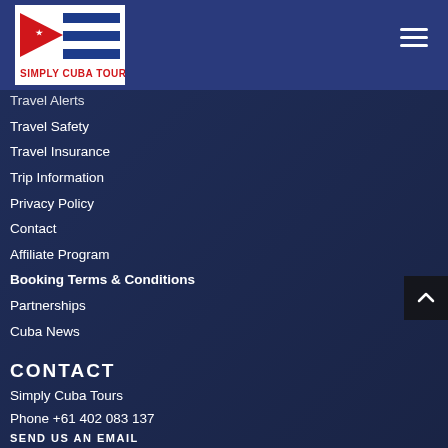[Figure (logo): Simply Cuba Tours logo with Cuban flag (red triangle with white star and blue stripes), red text below reading SIMPLY CUBA TOURS]
Travel Alerts
Travel Safety
Travel Insurance
Trip Information
Privacy Policy
Contact
Affiliate Program
Booking Terms & Conditions
Partnerships
Cuba News
CONTACT
Simply Cuba Tours
Phone +61 402 083 137
SEND US AN EMAIL